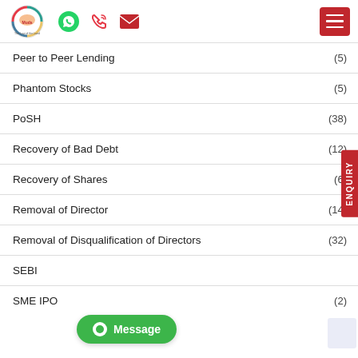MUDS - The Law of the Land
Peer to Peer Lending (5)
Phantom Stocks (5)
PoSH (38)
Recovery of Bad Debt (12)
Recovery of Shares (6)
Removal of Director (14)
Removal of Disqualification of Directors (32)
SEBI
SME IPO (2)